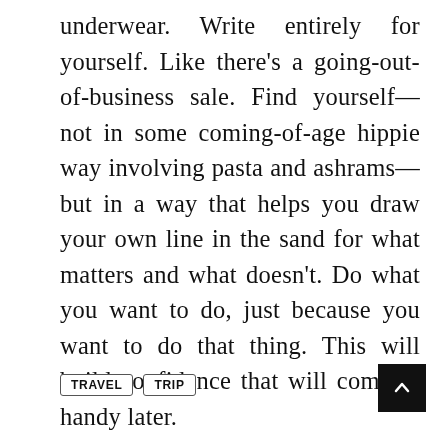underwear. Write entirely for yourself. Like there's a going-out-of-business sale. Find yourself—not in some coming-of-age hippie way involving pasta and ashrams—but in a way that helps you draw your own line in the sand for what matters and what doesn't. Do what you want to do, just because you want to do that thing. This will build confidence that will come in handy later.
TRAVEL
TRIP